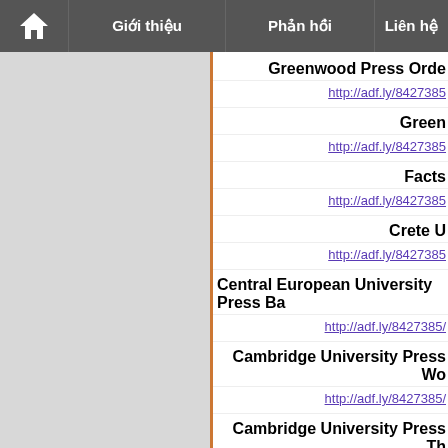Giới thiệu | Phản hồi | Liên hệ
Greenwood Press Orde...
http://adf.ly/8427385
Green...
http://adf.ly/8427385
Facts
http://adf.ly/8427385
Crete U...
http://adf.ly/8427385
Central European University Press Ba...
http://adf.ly/8427385/
Cambridge University Press Wo...
http://adf.ly/8427385/
Cambridge University Press Th...
http://adf.ly/8427385
Cambridge University